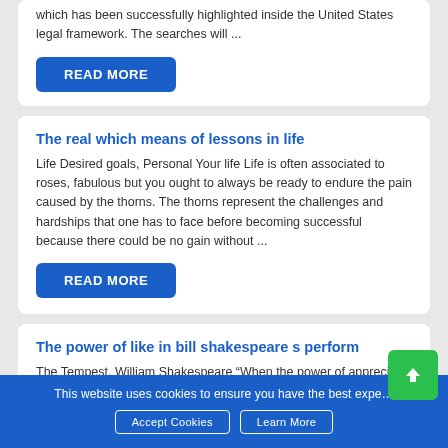which has been successfully highlighted inside the United States legal framework. The searches will ...
READ MORE
The real which means of lessons in life
Life Desired goals, Personal Your life Life is often associated to roses, fabulous but you ought to always be ready to endure the pain caused by the thorns. The thorns represent the challenges and hardships that one has to face before becoming successful because there could be no gain without ...
READ MORE
The power of like in bill shakespeare s perform
The Tempest, William Shakespeare "When the power of appreciate overcomes the love of electric power the world will be aware of
This website uses cookies to ensure you have the best exper...
Accept Cookies
Learn More